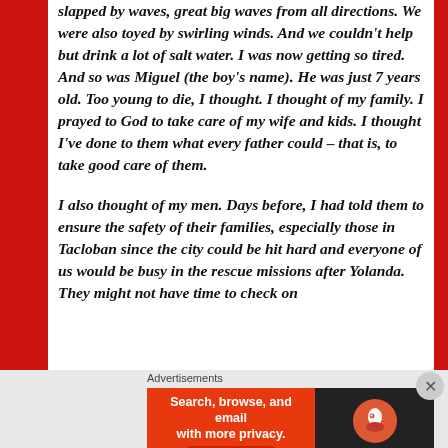slapped by waves, great big waves from all directions. We were also toyed by swirling winds. And we couldn't help but drink a lot of salt water. I was now getting so tired. And so was Miguel (the boy's name). He was just 7 years old. Too young to die, I thought. I thought of my family. I prayed to God to take care of my wife and kids. I thought I've done to them what every father could – that is, to take good care of them.

I also thought of my men. Days before, I had told them to ensure the safety of their families, especially those in Tacloban since the city could be hit hard and everyone of us would be busy in the rescue missions after Yolanda. They might not have time to check on
Advertisements
[Figure (other): DuckDuckGo advertisement banner: 'Search, browse, and email with more privacy. All in One Free App' with DuckDuckGo logo on dark background.]